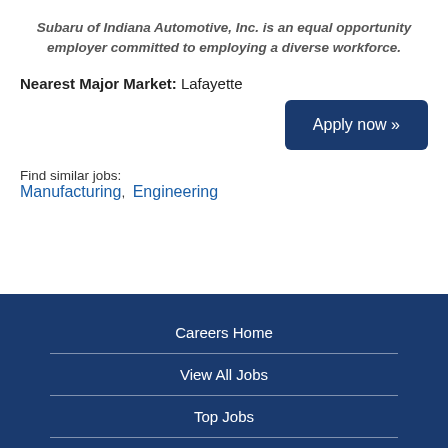Subaru of Indiana Automotive, Inc. is an equal opportunity employer committed to employing a diverse workforce.
Nearest Major Market: Lafayette
Apply now »
Find similar jobs:
Manufacturing, Engineering
Careers Home | View All Jobs | Top Jobs